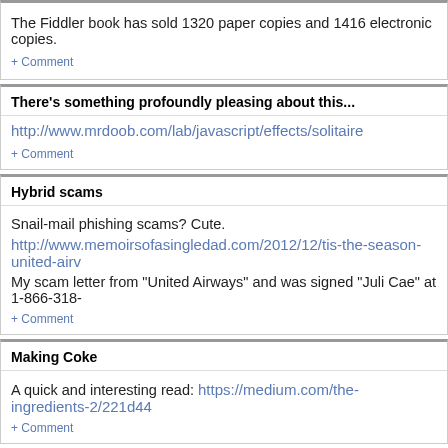The Fiddler book has sold 1320 paper copies and 1416 electronic copies.
+ Comment
There's something profoundly pleasing about this...
http://www.mrdoob.com/lab/javascript/effects/solitaire
+ Comment
Hybrid scams
Snail-mail phishing scams? Cute.
http://www.memoirsofasingledad.com/2012/12/tis-the-season-united-airv
My scam letter from "United Airways" and was signed "Juli Cae" at 1-866-318-
+ Comment
Making Coke
A quick and interesting read: https://medium.com/the-ingredients-2/221d44
+ Comment
Decompilation is hard...
JustDecompile 2013.1.225.1
public bool IsAbstract
{